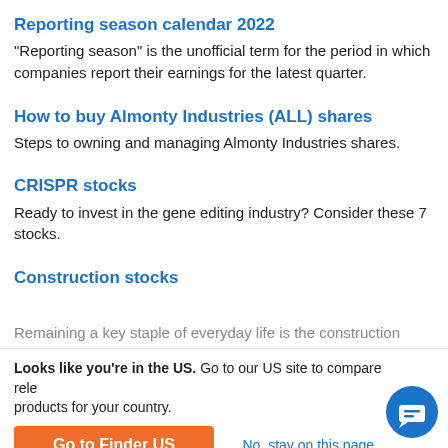Reporting season calendar 2022
"Reporting season" is the unofficial term for the period in which companies report their earnings for the latest quarter.
How to buy Almonty Industries (ALL) shares
Steps to owning and managing Almonty Industries shares.
CRISPR stocks
Ready to invest in the gene editing industry? Consider these 7 stocks.
Construction stocks
Remaining a key staple of everyday life is the construction…
Looks like you're in the US. Go to our US site to compare relevant products for your country.
Go to Finder US
No, stay on this page